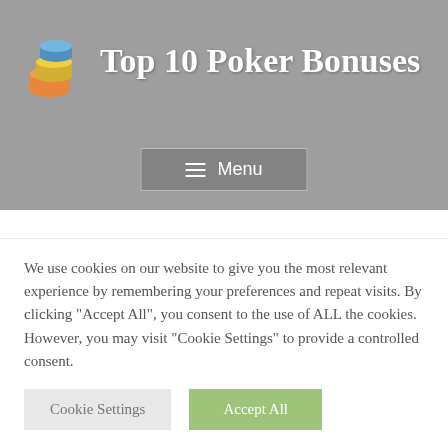[Figure (logo): Top 10 Poker Bonuses logo with poker chip stack icon and white bold text on grey background]
Italy hosts its first ever EPT event
Leave a Comment · Gambling
We use cookies on our website to give you the most relevant experience by remembering your preferences and repeat visits. By clicking "Accept All", you consent to the use of ALL the cookies. However, you may visit "Cookie Settings" to provide a controlled consent.